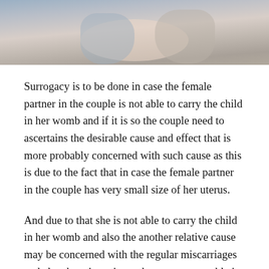[Figure (photo): Photo of people lying together, viewed from above, partial torsos visible against pillows]
Surrogacy is to be done in case the female partner in the couple is not able to carry the child in her womb and if it is so the couple need to ascertains the desirable cause and effect that is more probably concerned with such cause as this is due to the fact that in case the female partner in the couple has very small size of her uterus.
And due to that she is not able to carry the child in her womb and also the another relative cause may be concerned with the regular miscarriages and also the miscarriages that are uncountable in number and due to that the female partner in the infertile couple is not able to carry the child in her womb.
Surrogacy in Ukraine may be done using the eggs of the donor or may be the eggs of the intended mother is used in the completion of the process but in some of the relative cases, the eggs of the intended mothers are used it is because she